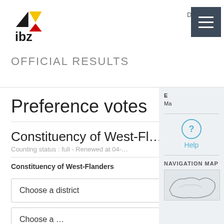[Figure (logo): IBZ logo with black, yellow and red arrow shapes and text 'ibz']
DE | EN | FR | NL |
OFFICIAL RESULTS
Preference votes
Constituency of West-Fl...
Counting status : full - Renewed at 04-...
Constituency of West-Flanders
Choose a district
Choose a ...
E
Ma
[Figure (other): Help icon - circle with question mark]
Help
NAVIGATION MAP
[Figure (map): Navigation map showing outline of West-Flanders constituency]